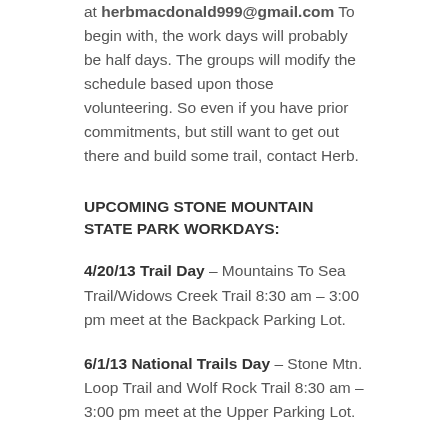at herbmacdonald999@gmail.com To begin with, the work days will probably be half days. The groups will modify the schedule based upon those volunteering. So even if you have prior commitments, but still want to get out there and build some trail, contact Herb.
UPCOMING STONE MOUNTAIN STATE PARK WORKDAYS:
4/20/13 Trail Day – Mountains To Sea Trail/Widows Creek Trail 8:30 am – 3:00 pm meet at the Backpack Parking Lot.
6/1/13 National Trails Day – Stone Mtn. Loop Trail and Wolf Rock Trail 8:30 am – 3:00 pm meet at the Upper Parking Lot.
Items to bring are: pair of work gloves, lunch, water and a great attitude!  Park Staff is encouraging everyone to call the office 336-957-8185 or send us an email at stone.mountain@ncparks.gov to sign up your group so we